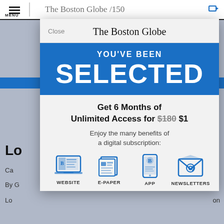The Boston Globe — MENU / navigation bar
[Figure (screenshot): Boston Globe subscription modal overlay on a news article page. Modal shows 'YOU'VE BEEN SELECTED' in white on blue background, offer text 'Get 6 Months of Unlimited Access for $180 $1', subtext 'Enjoy the many benefits of a digital subscription:', and four icons: WEBSITE, E-PAPER, APP, NEWSLETTERS.]
YOU'VE BEEN SELECTED
Get 6 Months of Unlimited Access for $180 $1
Enjoy the many benefits of a digital subscription:
WEBSITE
E-PAPER
APP
NEWSLETTERS